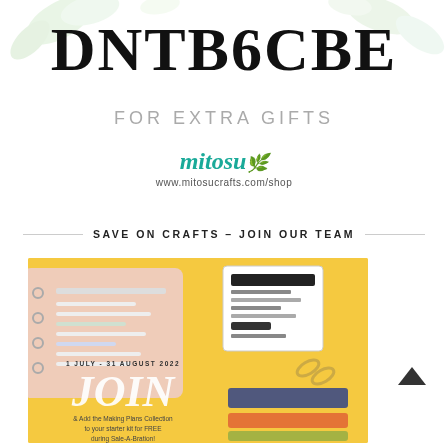DNTB6CBE
FOR EXTRA GIFTS
[Figure (logo): Mitosu Crafts logo with teal script text and green leaf icon, URL www.mitosucrafts.com/shop]
SAVE ON CRAFTS – JOIN OUR TEAM
[Figure (photo): Promotional image on yellow background showing a planner/notebook and stamp block for Making Plans Collection. Text reads: 1 JULY - 31 AUGUST 2022, JOIN, & Add the Making Plans Collection to your starter kit for FREE during Sale-A-Bration!]